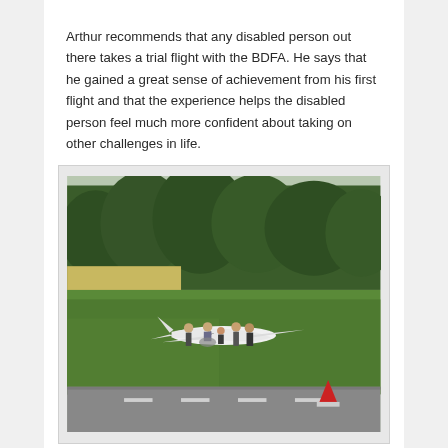Arthur recommends that any disabled person out there takes a trial flight with the BDFA. He says that he gained a great sense of achievement from his first flight and that the experience helps the disabled person feel much more confident about taking on other challenges in life.
[Figure (photo): Outdoor photo at an airfield showing a small white light aircraft (registration G-...) parked on green grass. Several people are gathered around the plane, including a person in a wheelchair. A dense tree line is visible in the background, a field and crops to the left. In the foreground is a tarmac strip and a red and white cone/marker on the right side.]